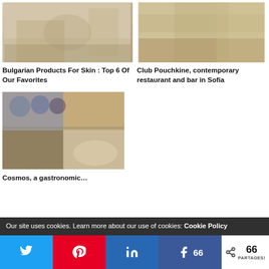[Figure (photo): Blurred interior room photo, article thumbnail for Bulgarian Products For Skin]
[Figure (photo): Blurred restaurant/bar interior photo, article thumbnail for Club Pouchkine]
Bulgarian Products For Skin : Top 6 Of Our Favorites
Club Pouchkine, contemporary restaurant and bar in Sofia
[Figure (photo): Blurred gastronomic restaurant collage photo, article thumbnail for Cosmos]
Cosmos, a gastronomic…
Our site uses cookies. Learn more about our use of cookies: Cookie Policy
< 66 PARTAGES!